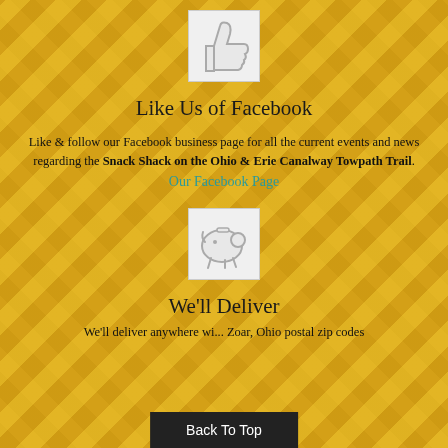[Figure (illustration): Thumbs up icon on light gray square background]
Like Us of Facebook
Like & follow our Facebook business page for all the current events and news regarding the Snack Shack on the Ohio & Erie Canalway Towpath Trail.
Our Facebook Page
[Figure (illustration): Piggy bank icon on light gray square background]
We'll Deliver
We'll deliver anywhere wi... Zoar, Ohio postal zip codes
Back To Top